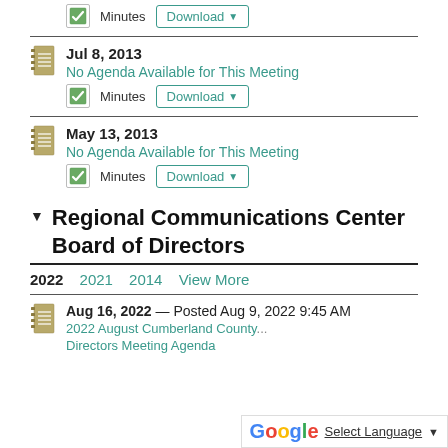Minutes  Download ▼
Jul 8, 2013 — No Agenda Available for This Meeting
Minutes  Download ▼
May 13, 2013 — No Agenda Available for This Meeting
Minutes  Download ▼
▼ Regional Communications Center Board of Directors
2022  2021  2014  View More
Aug 16, 2022  — Posted Aug 9, 2022 9:45 AM
2022 August Cumberland County ... Directors Meeting Agenda